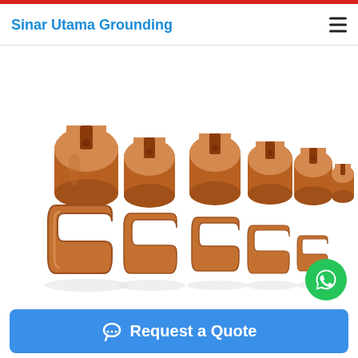Sinar Utama Grounding
[Figure (photo): Multiple copper C-clamp/slug connectors of various sizes arranged in two rows, showing copper-colored metallic grounding clamps with C-shaped profiles and slots, used for electrical grounding connections.]
Request a Quote